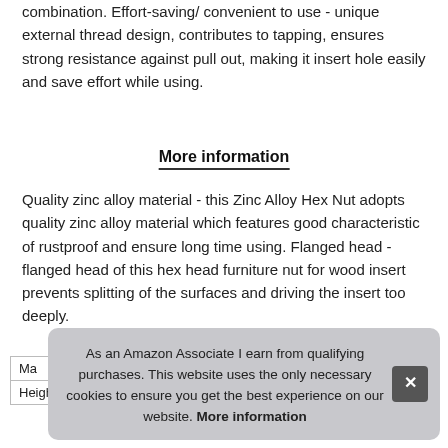combination. Effort-saving/ convenient to use - unique external thread design, contributes to tapping, ensures strong resistance against pull out, making it insert hole easily and save effort while using.
More information
Quality zinc alloy material - this Zinc Alloy Hex Nut adopts quality zinc alloy material which features good characteristic of rustproof and ensure long time using. Flanged head - flanged head of this hex head furniture nut for wood insert prevents splitting of the surfaces and driving the insert too deeply.
As an Amazon Associate I earn from qualifying purchases. This website uses the only necessary cookies to ensure you get the best experience on our website. More information
| Ma |
| Height | 1 cm (0.39 inches) |